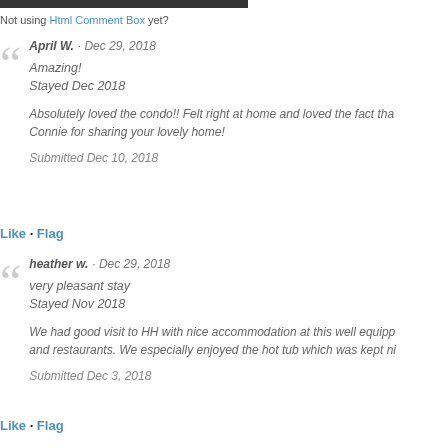Not using Html Comment Box yet?
April W. · Dec 29, 2018
Amazing!
Stayed Dec 2018

Absolutely loved the condo!! Felt right at home and loved the fact tha... Connie for sharing your lovely home!

Submitted Dec 10, 2018
Like · Flag
heather w. · Dec 29, 2018
very pleasant stay
Stayed Nov 2018

We had good visit to HH with nice accommodation at this well equipp... and restaurants. We especially enjoyed the hot tub which was kept ni...

Submitted Dec 3, 2018
Like · Flag
Vickie L. · Dec 29, 2018